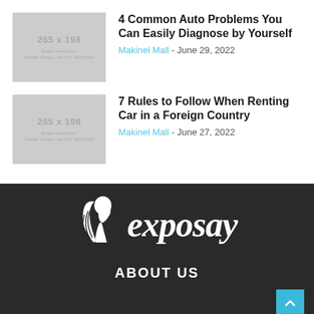[Figure (other): Thumbnail placeholder 265x198 with text 'Enable thumb from THEME PANEL + BLOCK SETTINGS']
4 Common Auto Problems You Can Easily Diagnose by Yourself
Makinel Mall - June 29, 2022
[Figure (other): Thumbnail placeholder 265x198 with text 'Enable thumb from THEME PANEL + BLOCK SETTINGS']
7 Rules to Follow When Renting Car in a Foreign Country
Makinel Mall - June 27, 2022
[Figure (logo): Exposay logo - woman silhouette icon with stylized 'exposay' text in white on dark background]
ABOUT US